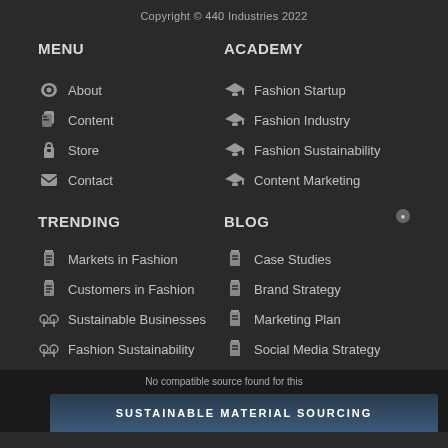Copyright © 440 Industries 2022
MENU
ACADEMY
About
Content
Store
Contact
Fashion Startup
Fashion Industry
Fashion Sustainability
Content Marketing
TRENDING
BLOG
Markets in Fashion
Customers in Fashion
Sustainable Businesses
Fashion Sustainability
Case Studies
Brand Strategy
Marketing Plan
Social Media Strategy
No compatible source found for this
SUSTAINABLE MATERIAL SOURCING